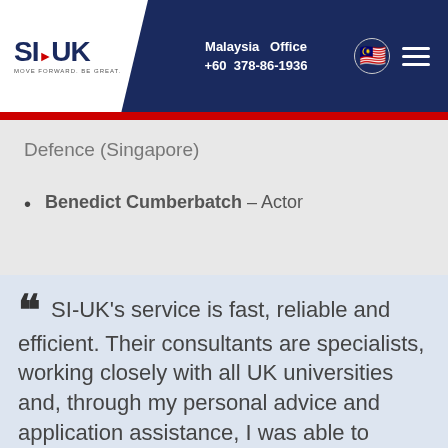SI-UK Malaysia Office +60 378-86-1936
Defence (Singapore)
Benedict Cumberbatch – Actor
SI-UK's service is fast, reliable and efficient. Their consultants are specialists, working closely with all UK universities and, through my personal advice and application assistance, I was able to receive offers from my favorite universities.